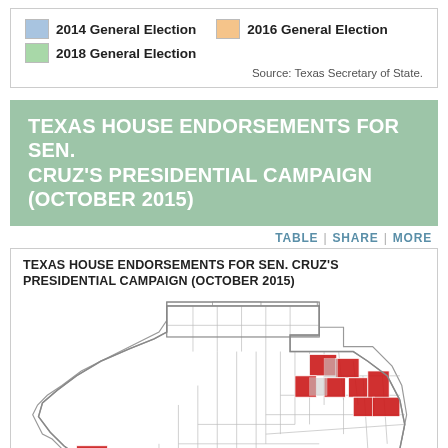[Figure (other): Legend showing three color swatches: blue for 2014 General Election, orange for 2016 General Election, green for 2018 General Election. Source: Texas Secretary of State.]
TEXAS HOUSE ENDORSEMENTS FOR SEN. CRUZ'S PRESIDENTIAL CAMPAIGN (OCTOBER 2015)
TABLE | SHARE | MORE
TEXAS HOUSE ENDORSEMENTS FOR SEN. CRUZ'S PRESIDENTIAL CAMPAIGN (OCTOBER 2015)
[Figure (map): Map of Texas showing legislative districts with red-highlighted districts indicating endorsements for Sen. Cruz's presidential campaign in October 2015. Several districts in East Texas/Dallas area and South Texas/El Paso area are highlighted in red.]